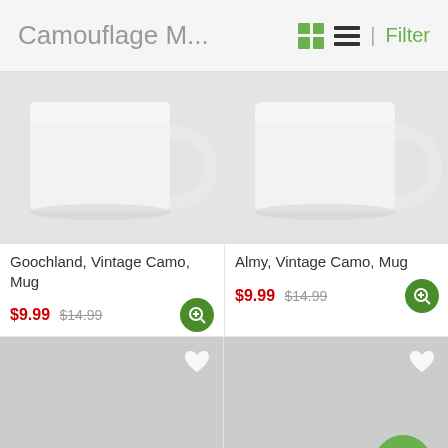Camouflage M...
[Figure (screenshot): Product listing grid showing camouflage mugs for sale with prices]
Goochland, Vintage Camo, Mug
$9.99 $14.99
Almy, Vintage Camo, Mug
$9.99 $14.99